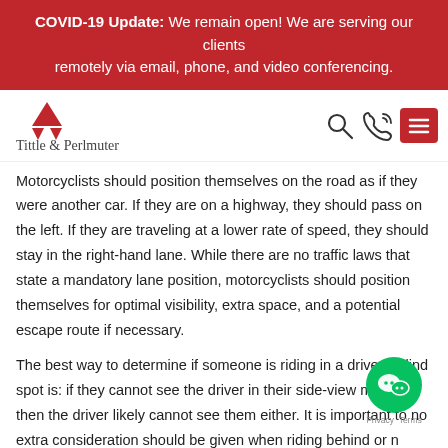COVID-19 Update: We remain open! We are serving our clients remotely via email, phone, and video conferencing.
[Figure (logo): Tittle & Perlmuter law firm logo with red triangle icon and firm name]
Motorcyclists should position themselves on the road as if they were another car. If they are on a highway, they should pass on the left. If they are traveling at a lower rate of speed, they should stay in the right-hand lane. While there are no traffic laws that state a mandatory lane position, motorcyclists should position themselves for optimal visibility, extra space, and a potential escape route if necessary.
The best way to determine if someone is riding in a driver's blind spot is: if they cannot see the driver in their side-view mirror, then the driver likely cannot see them either. It is important to no extra consideration should be given when riding behind or n large semi-trucks.